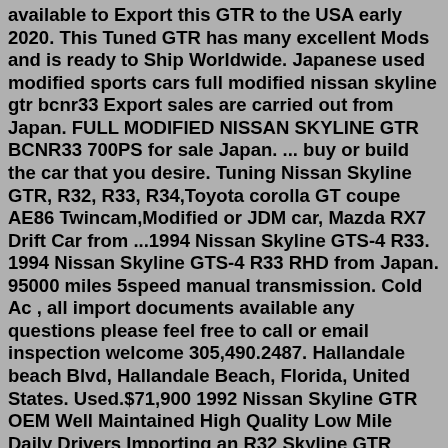available to Export this GTR to the USA early 2020. This Tuned GTR has many excellent Mods and is ready to Ship Worldwide. Japanese used modified sports cars full modified nissan skyline gtr bcnr33 Export sales are carried out from Japan. FULL MODIFIED NISSAN SKYLINE GTR BCNR33 700PS for sale Japan. ... buy or build the car that you desire. Tuning Nissan Skyline GTR, R32, R33, R34,Toyota corolla GT coupe AE86 Twincam,Modified or JDM car, Mazda RX7 Drift Car from ...1994 Nissan Skyline GTS-4 R33. 1994 Nissan Skyline GTS-4 R33 RHD from Japan. 95000 miles 5speed manual transmission. Cold Ac , all import documents available any questions please feel free to call or email inspection welcome 305,490.2487. Hallandale beach Blvd, Hallandale Beach, Florida, United States. Used.$71,900 1992 Nissan Skyline GTR OEM Well Maintained High Quality Low Mile Daily Drivers Importing an R32 Skyline GTR Montu Motors is a fully licensed, bonded, and insured auto dealer and importer Nissan Skyline GT R (R33) 1996